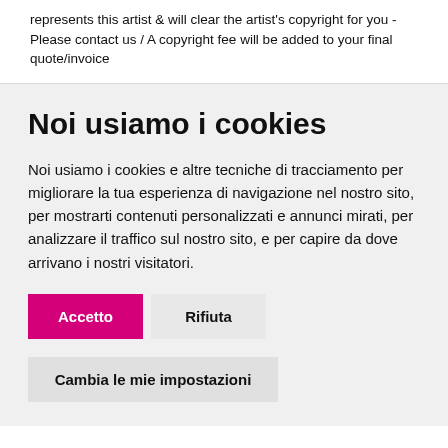represents this artist & will clear the artist's copyright for you - Please contact us / A copyright fee will be added to your final quote/invoice
Noi usiamo i cookies
Noi usiamo i cookies e altre tecniche di tracciamento per migliorare la tua esperienza di navigazione nel nostro sito, per mostrarti contenuti personalizzati e annunci mirati, per analizzare il traffico sul nostro sito, e per capire da dove arrivano i nostri visitatori.
Accetto
Rifiuta
Cambia le mie impostazioni